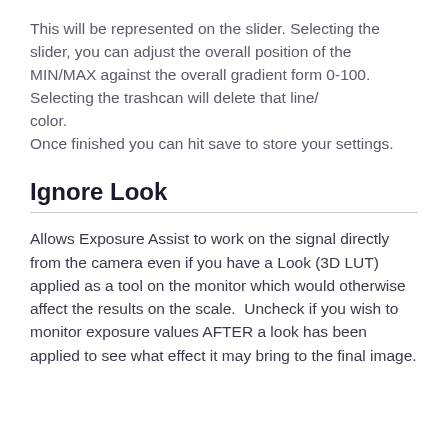This will be represented on the slider. Selecting the slider, you can adjust the overall position of the MIN/MAX against the overall gradient form 0-100. Selecting the trashcan will delete that line/color. Once finished you can hit save to store your settings.
Ignore Look
Allows Exposure Assist to work on the signal directly from the camera even if you have a Look (3D LUT) applied as a tool on the monitor which would otherwise affect the results on the scale.  Uncheck if you wish to monitor exposure values AFTER a look has been applied to see what effect it may bring to the final image.